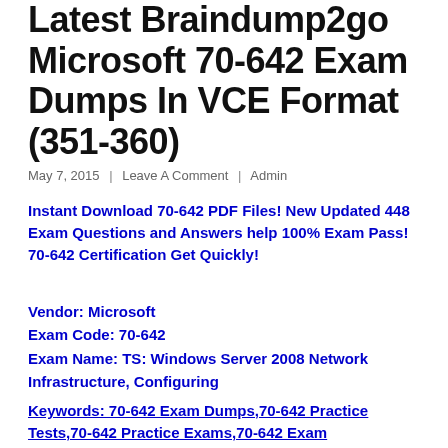Latest Braindump2go Microsoft 70-642 Exam Dumps In VCE Format (351-360)
May 7, 2015  |  Leave A Comment  |  Admin
Instant Download 70-642 PDF Files! New Updated 448 Exam Questions and Answers help 100% Exam Pass! 70-642 Certification Get Quickly!
Vendor: Microsoft
Exam Code: 70-642
Exam Name: TS: Windows Server 2008 Network Infrastructure, Configuring
Keywords: 70-642 Exam Dumps,70-642 Practice Tests,70-642 Practice Exams,70-642 Exam Questions,70-642...